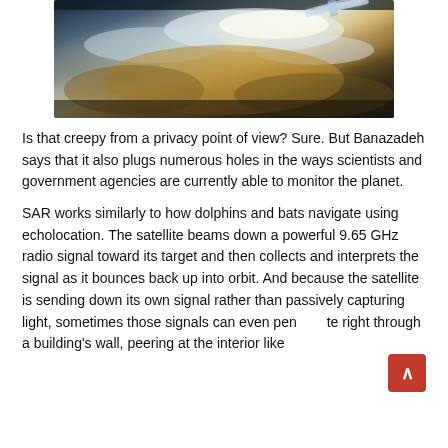[Figure (photo): Aerial/satellite photograph of Earth from orbit, showing clouds, land, and a satellite or solar panel edge visible in the upper portion. Scene shows sunlit clouds over landmass with warm golden-brown earth tones.]
Is that creepy from a privacy point of view? Sure. But Banazadeh says that it also plugs numerous holes in the ways scientists and government agencies are currently able to monitor the planet.
SAR works similarly to how dolphins and bats navigate using echolocation. The satellite beams down a powerful 9.65 GHz radio signal toward its target and then collects and interprets the signal as it bounces back up into orbit. And because the satellite is sending down its own signal rather than passively capturing light, sometimes those signals can even penetrate right through a building's wall, peering at the interior like